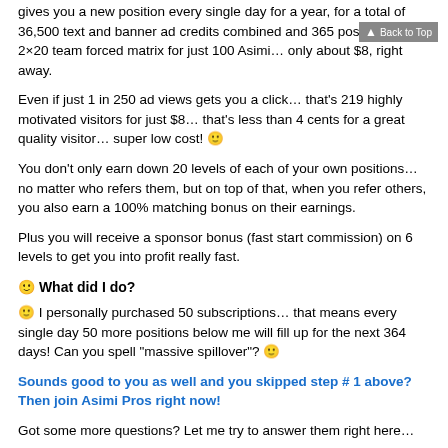gives you a new position every single day for a year, for a total of 36,500 text and banner ad credits combined and 365 positions in the 2×20 team forced matrix for just 100 Asimi… only about $8, right away.
Even if just 1 in 250 ad views gets you a click… that's 219 highly motivated visitors for just $8… that's less than 4 cents for a great quality visitor… super low cost! 🙂
You don't only earn down 20 levels of each of your own positions… no matter who refers them, but on top of that, when you refer others, you also earn a 100% matching bonus on their earnings.
Plus you will receive a sponsor bonus (fast start commission) on 6 levels to get you into profit really fast.
🙂 What did I do?
🙂 I personally purchased 50 subscriptions… that means every single day 50 more positions below me will fill up for the next 364 days! Can you spell "massive spillover"? 🙂
Sounds good to you as well and you skipped step # 1 above? Then join Asimi Pros right now!
Got some more questions? Let me try to answer them right here…